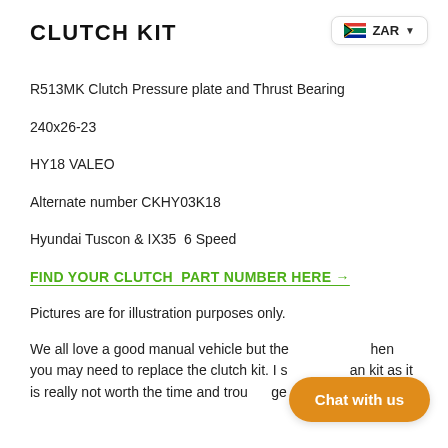CLUTCH KIT
R513MK Clutch Pressure plate and Thrust Bearing
240x26-23
HY18 VALEO
Alternate number CKHY03K18
Hyundai Tuscon & IX35  6 Speed
FIND YOUR CLUTCH  PART NUMBER HERE →
Pictures are for illustration purposes only.
We all love a good manual vehicle but the [Chat with us] hen you may need to replace the clutch kit. I s an kit as it is really not worth the time and trou ge a clutch plate.